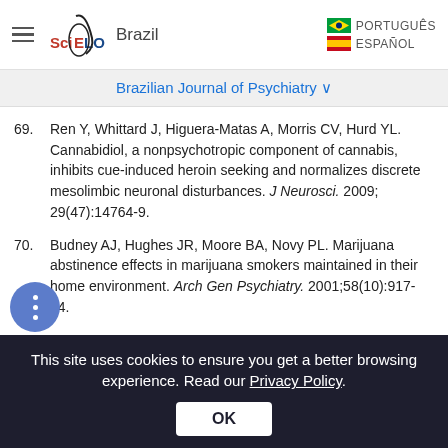SciELO Brazil | PORTUGUÊS | ESPAÑOL
Brazilian Journal of Psychiatry
69. Ren Y, Whittard J, Higuera-Matas A, Morris CV, Hurd YL. Cannabidiol, a nonpsychotropic component of cannabis, inhibits cue-induced heroin seeking and normalizes discrete mesolimbic neuronal disturbances. J Neurosci. 2009;29(47):14764-9.
70. Budney AJ, Hughes JR, Moore BA, Novy PL. Marijuana abstinence effects in marijuana smokers maintained in their home environment. Arch Gen Psychiatry. 2001;58(10):917-24.
This site uses cookies to ensure you get a better browsing experience. Read our Privacy Policy. OK